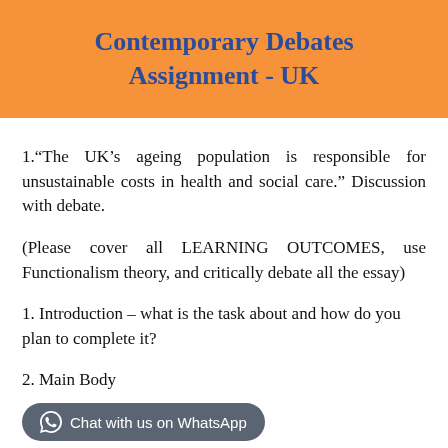Contemporary Debates Assignment - UK
1.“The UK’s ageing population is responsible for unsustainable costs in health and social care.” Discussion with debate.
(Please cover all LEARNING OUTCOMES, use Functionalism theory, and critically debate all the essay)
1. Introduction – what is the task about and how do you plan to complete it?
2. Main Body
a.definition of concepts i.e., ‘ageing population’